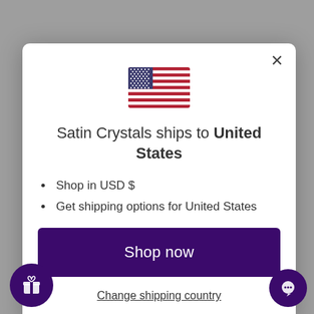[Figure (illustration): US flag emoji/icon centered at top of modal]
Satin Crystals ships to United States
Shop in USD $
Get shipping options for United States
Shop now
Change shipping country